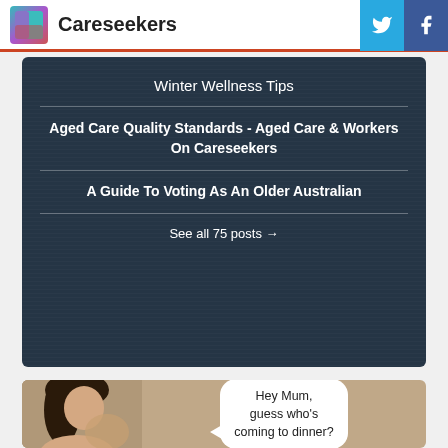Careseekers
[Figure (screenshot): Blog post listing panel with dark overlay showing three article titles on Careseekers website]
Winter Wellness Tips
Aged Care Quality Standards - Aged Care & Workers On Careseekers
A Guide To Voting As An Older Australian
See all 75 posts →
[Figure (photo): Photo of two people with speech bubble saying 'Hey Mum, guess who's coming to dinner?']